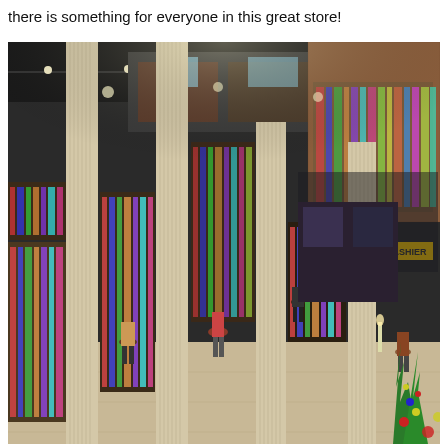there is something for everyone in this great store!
[Figure (photo): Overhead interior view of a large bookstore with tall classical columns, rows of bookshelves packed with books, shoppers browsing, string lights overhead, brick walls, and a Christmas tree visible in the lower right corner.]